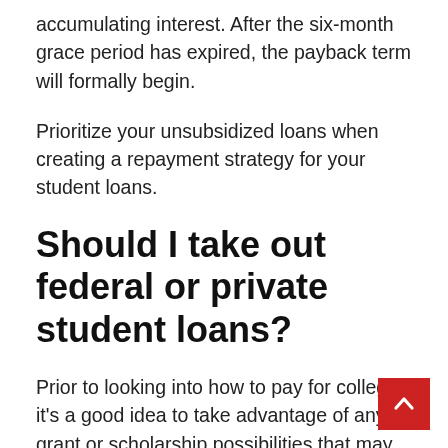accumulating interest. After the six-month grace period has expired, the payback term will formally begin.
Prioritize your unsubsidized loans when creating a repayment strategy for your student loans.
Should I take out federal or private student loans?
Prior to looking into how to pay for college, it's a good idea to take advantage of any grant or scholarship possibilities that may be available to you before beginning to examine financing choices. If you do need to borrow money, it's nearly always advisable to start